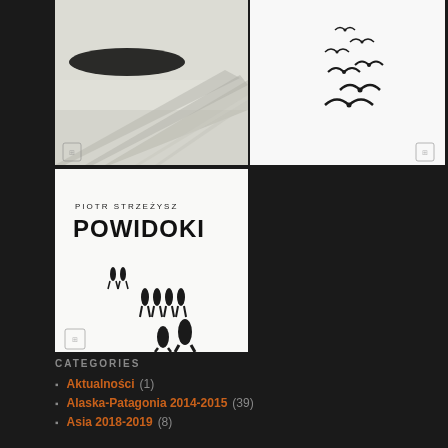[Figure (photo): Black and white minimalist photo: diagonal path leading to a dark island/hill on the left, long exposure effect giving blurred motion to water or land surface.]
[Figure (photo): Black and white minimalist photo: several birds (seagulls or similar) in flight against a white background, minimalist composition.]
[Figure (photo): Black and white book cover: 'PIOTR STRZEŻYSZ POWIDOKI' title text at top, with figures of people walking at different distances below on white background.]
CATEGORIES
Aktualności (1)
Alaska-Patagonia 2014-2015 (39)
Asia 2018-2019 (8)